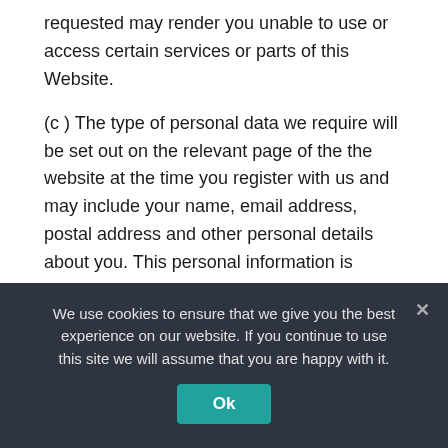requested may render you unable to use or access certain services or parts of this Website.
(c ) The type of personal data we require will be set out on the relevant page of the the website at the time you register with us and may include your name, email address, postal address and other personal details about you. This personal information is referred to in this Privacy Notice as 'Your Information'
(d) We may also collect information about your use of our Website (for example, the URL you came
We use cookies to ensure that we give you the best experience on our website. If you continue to use this site we will assume that you are happy with it.